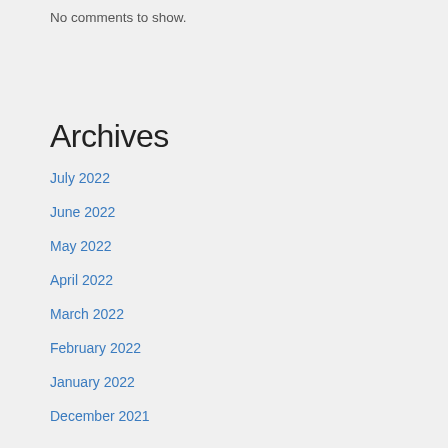No comments to show.
Archives
July 2022
June 2022
May 2022
April 2022
March 2022
February 2022
January 2022
December 2021